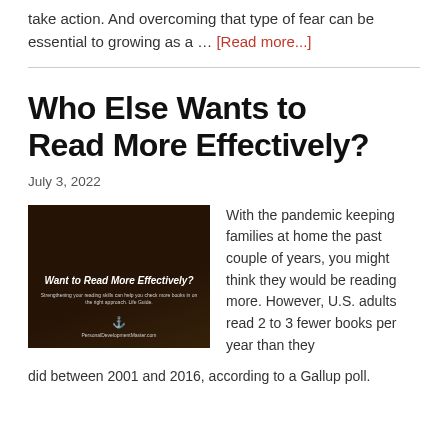take action. And overcoming that type of fear can be essential to growing as a … [Read more...]
Who Else Wants to Read More Effectively?
July 3, 2022
[Figure (photo): Dark image of a person reading with text overlay: 'Want to Read More Effectively?' with subtitle text and website URL at bottom]
With the pandemic keeping families at home the past couple of years, you might think they would be reading more. However, U.S. adults read 2 to 3 fewer books per year than they did between 2001 and 2016, according to a Gallup poll.